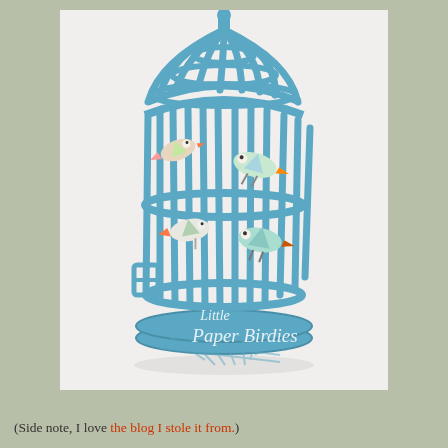[Figure (photo): A turquoise/blue decorative birdcage with small colorful paper birds inside. The cage has vertical bars, a domed top, and a base with a door latch. Watermark text reads 'Little Paper Birdies'.]
(Side note, I love the blog I stole it from.)